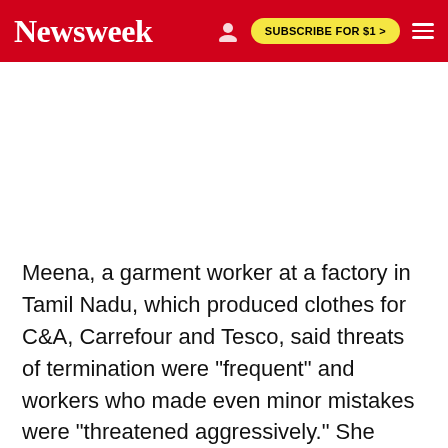Newsweek | SUBSCRIBE FOR $1 >
Meena, a garment worker at a factory in Tamil Nadu, which produced clothes for C&A, Carrefour and Tesco, said threats of termination were "frequent" and workers who made even minor mistakes were "threatened aggressively." She continued, "Verbal and physical harassment, including hitting and